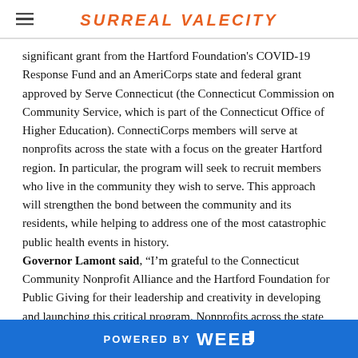SURREAL VALECITY
significant grant from the Hartford Foundation's COVID-19 Response Fund and an AmeriCorps state and federal grant approved by Serve Connecticut (the Connecticut Commission on Community Service, which is part of the Connecticut Office of Higher Education). ConnectiCorps members will serve at nonprofits across the state with a focus on the greater Hartford region. In particular, the program will seek to recruit members who live in the community they wish to serve. This approach will strengthen the bond between the community and its residents, while helping to address one of the most catastrophic public health events in history. Governor Lamont said, “I’m grateful to the Connecticut Community Nonprofit Alliance and the Hartford Foundation for Public Giving for their leadership and creativity in developing and launching this critical program. Nonprofits across the state are on the frontlines of the COVID emergency, providing critically needed services to vulnerable people across Connecticut. The ConnectiCorps
POWERED BY weebly